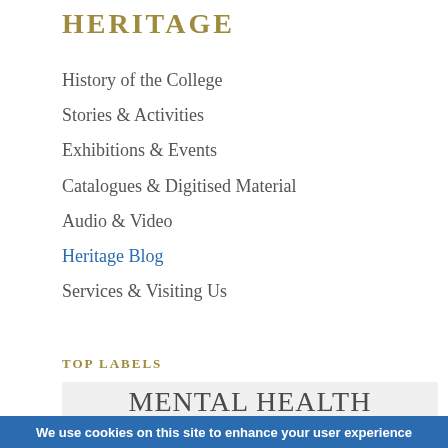HERITAGE
History of the College
Stories & Activities
Exhibitions & Events
Catalogues & Digitised Material
Audio & Video
Heritage Blog
Services & Visiting Us
TOP LABELS
MENTAL HEALTH
ARCHIVES   BOTANY
ART AND LITERATURE
We use cookies on this site to enhance your user experience